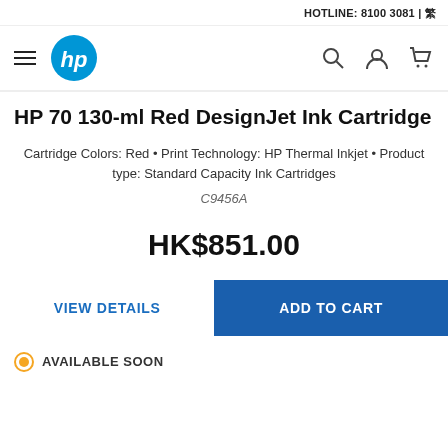HOTLINE: 8100 3081 | 繁
[Figure (logo): HP logo and navigation bar with hamburger menu, HP logo, search, account, and cart icons]
HP 70 130-ml Red DesignJet Ink Cartridge
Cartridge Colors: Red • Print Technology: HP Thermal Inkjet • Product type: Standard Capacity Ink Cartridges
C9456A
HK$851.00
VIEW DETAILS
ADD TO CART
AVAILABLE SOON